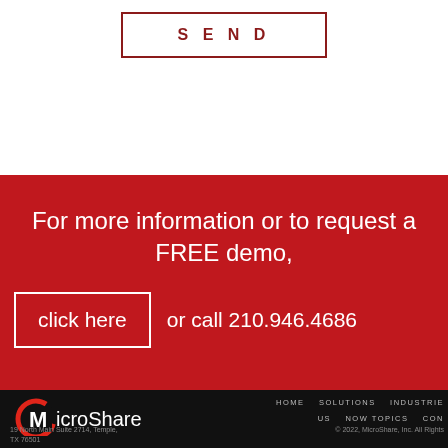[Figure (other): SEND button with dark red border and text on white background]
For more information or to request a FREE demo,
click here  or call 210.946.4686
[Figure (logo): MicroShare logo with red circular C icon and white text on black background]
HOME  SOLUTIONS  INDUSTRIES
US  NOW TOPICS  CON
19 North Main Suite 2714, Temple,
TX 76501
© 2022, MicroShare, Inc. All Rights